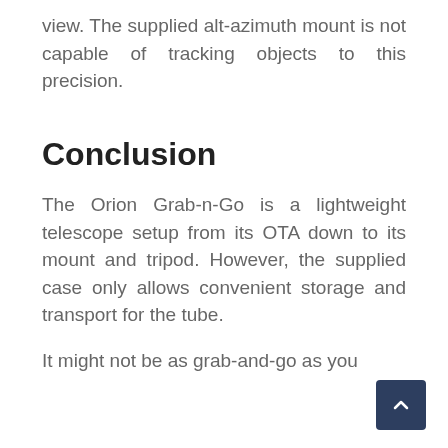view. The supplied alt-azimuth mount is not capable of tracking objects to this precision.
Conclusion
The Orion Grab-n-Go is a lightweight telescope setup from its OTA down to its mount and tripod. However, the supplied case only allows convenient storage and transport for the tube.
It might not be as grab-and-go as you